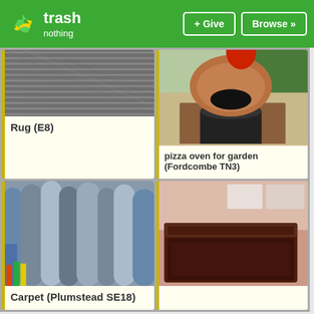trash nothing | + Give | Browse »
[Figure (photo): Close-up photo of a grey textured rug]
Rug (E8)
[Figure (photo): Outdoor brick pizza oven for garden with red ball on top]
pizza oven for garden (Fordcombe TN3)
[Figure (photo): Multiple rolled carpets standing upright in grey/blue tones]
Carpet (Plumstead SE18)
[Figure (photo): Partial image of a hand holding something orange, cropped at bottom]
[Figure (photo): Dark brown wooden chest or trunk in a room, partially visible]